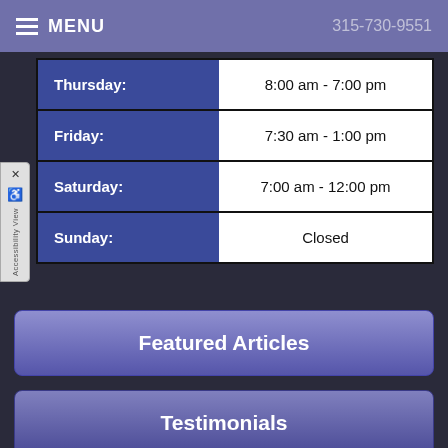MENU  315-730-9551
| Day | Hours |
| --- | --- |
| Thursday: | 8:00 am - 7:00 pm |
| Friday: | 7:30 am - 1:00 pm |
| Saturday: | 7:00 am - 12:00 pm |
| Sunday: | Closed |
Featured Articles
Testimonials